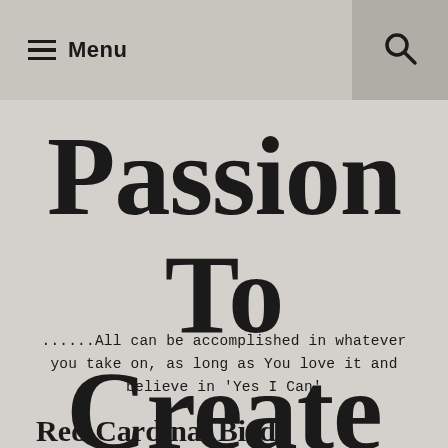Menu
Passion To Create
......All can be accomplished in whatever you take on, as long as You love it and believe in 'Yes I Can'
Red Cardinal Bird